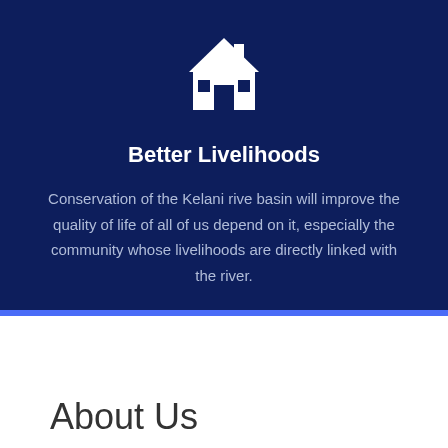[Figure (illustration): White house/building icon on dark blue background]
Better Livelihoods
Conservation of the Kelani rive basin will improve the quality of life of all of us depend on it, especially the community whose livelihoods are directly linked with the river.
About Us